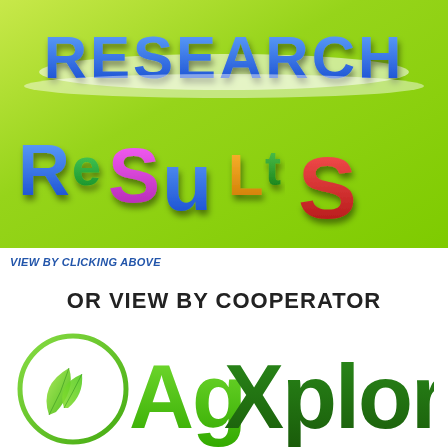[Figure (illustration): 3D colorful text graphic on green background reading 'RESEARCH RESULTS' with letters in blue, green, purple, orange, and red colors]
VIEW BY CLICKING ABOVE
OR VIEW BY COOPERATOR
[Figure (logo): AgXplore logo: green circular leaf emblem on the left with the text 'Ag' in green and 'Xplore' in dark green bold text]